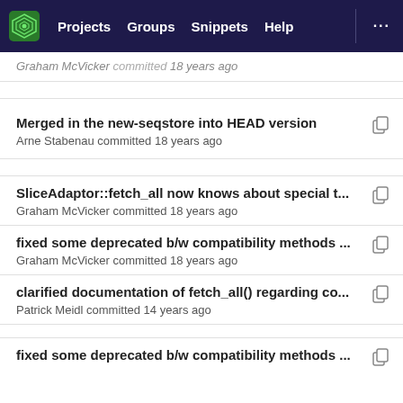Projects  Groups  Snippets  Help
Graham McVicker committed 18 years ago
Merged in the new-seqstore into HEAD version
Arne Stabenau committed 18 years ago
SliceAdaptor::fetch_all now knows about special t...
Graham McVicker committed 18 years ago
fixed some deprecated b/w compatibility methods ...
Graham McVicker committed 18 years ago
clarified documentation of fetch_all() regarding co...
Patrick Meidl committed 14 years ago
fixed some deprecated b/w compatibility methods ...